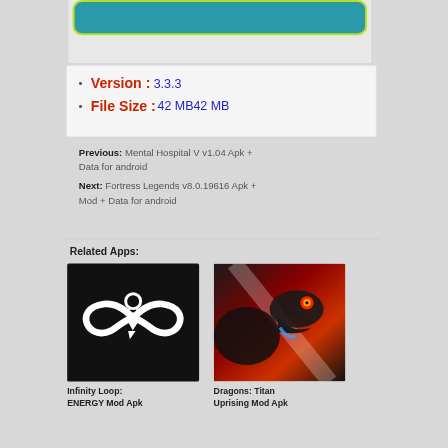Version : 3.3.3
File Size :42 MB42 MB
Previous: Mental Hospital V v1.04 Apk + Data for android
Next: Fortress Legends v8.0.19616 Apk + Mod + Data for android
Related Apps:
[Figure (illustration): Infinity Loop: ENERGY Mod Apk app icon — black background with white infinity symbol incorporating a lightbulb and lightning bolt]
Infinity Loop: ENERGY Mod Apk
[Figure (illustration): Dragons: Titan Uprising Mod Apk app icon — dark fantasy dragon with glowing red eyes and open mouth against a dramatic light background]
Dragons: Titan Uprising Mod Apk